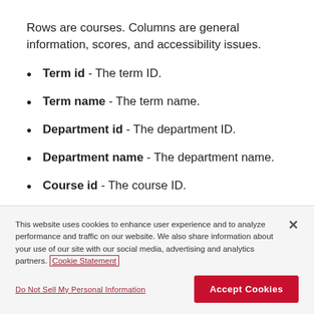Rows are courses. Columns are general information, scores, and accessibility issues.
Term id - The term ID.
Term name - The term name.
Department id - The department ID.
Department name - The department name.
Course id - The course ID.
Course code - The course code.
This website uses cookies to enhance user experience and to analyze performance and traffic on our website. We also share information about your use of our site with our social media, advertising and analytics partners. Cookie Statement
Do Not Sell My Personal Information
Accept Cookies